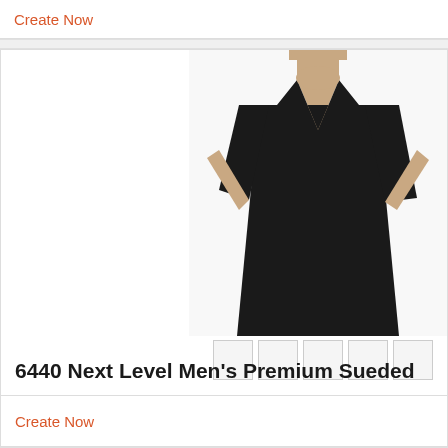Create Now
[Figure (photo): Man wearing a black v-neck t-shirt, product photo for 6440 Next Level Men's Premium Sueded]
[Figure (other): Five light gray color swatches]
6440 Next Level Men's Premium Sueded
Create Now
[Figure (photo): Woman wearing a black polo shirt, product photo, partially visible at bottom of page]